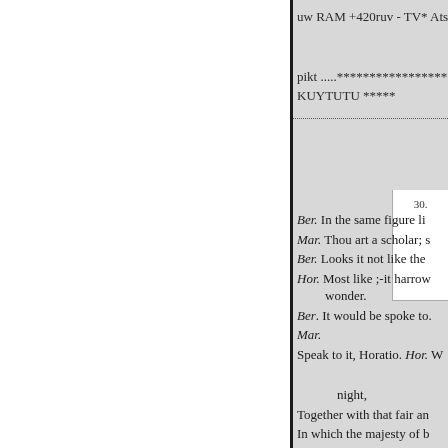uw RAM +420ruv - TV* Atsar
pikt ....******************** KUYTUTU *****
Ber. In the same figure li
Mar. Thou art a scholar; s
Ber. Looks it not like the
Hor. Most like ;-it harrow
wonder.
Ber. It would be spoke to.
Mar.
Speak to it, Horatio. Hor. W
night,
Together with that fair an
In which the majesty of b
Did sometimes march ? B